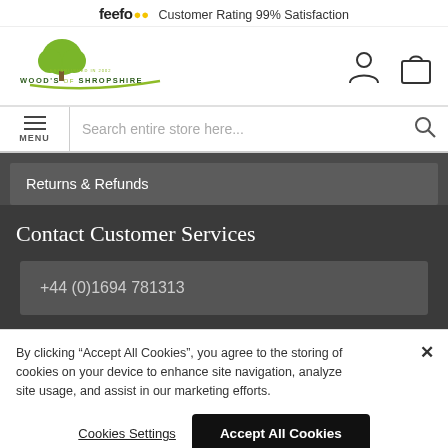feefo Customer Rating 99% Satisfaction
[Figure (logo): Wood's of Shropshire logo with green tree illustration and green underline, text WOOD'S of SHROPSHIRE, ESTABLISHED IN 2002]
Search entire store here...
Returns & Refunds
Contact Customer Services
+44 (0)1694 781313
By clicking "Accept All Cookies", you agree to the storing of cookies on your device to enhance site navigation, analyze site usage, and assist in our marketing efforts.
Cookies Settings
Accept All Cookies